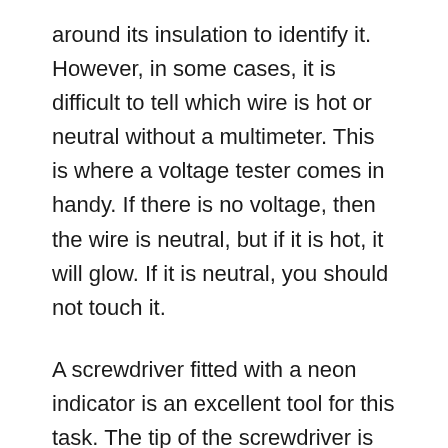around its insulation to identify it. However, in some cases, it is difficult to tell which wire is hot or neutral without a multimeter. This is where a voltage tester comes in handy. If there is no voltage, then the wire is neutral, but if it is hot, it will glow. If it is neutral, you should not touch it.
A screwdriver fitted with a neon indicator is an excellent tool for this task. The tip of the screwdriver is placed over the wire in question. If it lights, then the wire is live. Otherwise, it is not live. To test for live wires, you can use a battery or a light bulb. You should also bear in mind that the current is